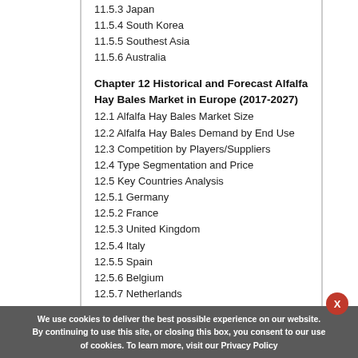11.5.3 Japan
11.5.4 South Korea
11.5.5 Southest Asia
11.5.6 Australia
Chapter 12 Historical and Forecast Alfalfa Hay Bales Market in Europe (2017-2027)
12.1 Alfalfa Hay Bales Market Size
12.2 Alfalfa Hay Bales Demand by End Use
12.3 Competition by Players/Suppliers
12.4 Type Segmentation and Price
12.5 Key Countries Analysis
12.5.1 Germany
12.5.2 France
12.5.3 United Kingdom
12.5.4 Italy
12.5.5 Spain
12.5.6 Belgium
12.5.7 Netherlands
12.5.8 Austria
We use cookies to deliver the best possible experience on our website. By continuing to use this site, or closing this box, you consent to our use of cookies. To learn more, visit our Privacy Policy